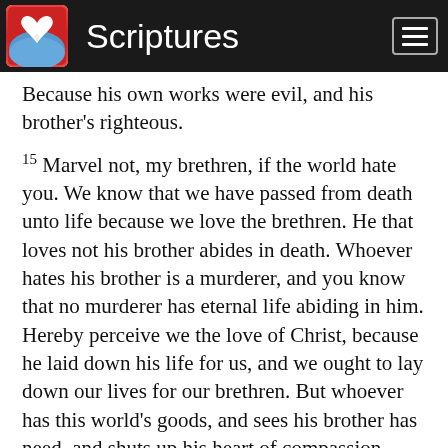Scriptures
Because his own works were evil, and his brother's righteous.
15 Marvel not, my brethren, if the world hate you. We know that we have passed from death unto life because we love the brethren. He that loves not his brother abides in death. Whoever hates his brother is a murderer, and you know that no murderer has eternal life abiding in him. Hereby perceive we the love of Christ, because he laid down his life for us, and we ought to lay down our lives for our brethren. But whoever has this world's goods, and sees his brother has need, and shuts up his heart of compassion from him, how does the love of God dwell in him?
16 My little children, let us not love in word,